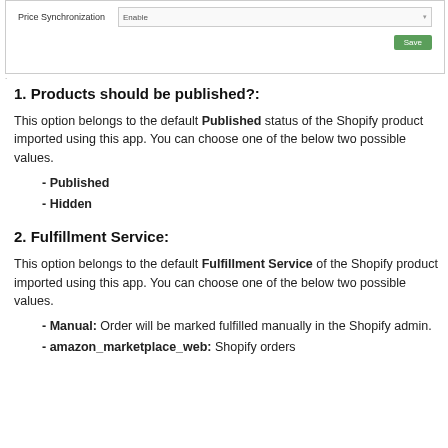[Figure (screenshot): UI screenshot showing Price Synchronization field set to 'Enable' with a dropdown and a green Save button]
1. Products should be published?:
This option belongs to the default Published status of the Shopify product imported using this app. You can choose one of the below two possible values.
- Published
- Hidden
2. Fulfillment Service:
This option belongs to the default Fulfillment Service of the Shopify product imported using this app. You can choose one of the below two possible values.
- Manual: Order will be marked fulfilled manually in the Shopify admin.
- amazon_marketplace_web: Shopify orders